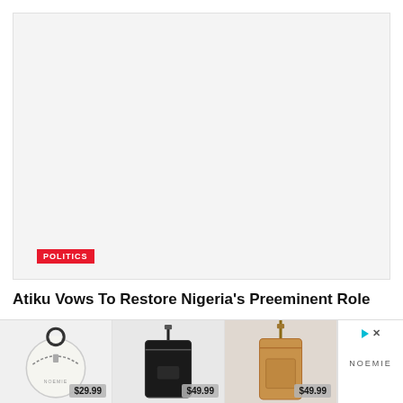[Figure (photo): Large light gray placeholder image area for a news article photo]
POLITICS
Atiku Vows To Restore Nigeria's Preeminent Role
[Figure (photo): Advertisement banner showing three handbag products from NOEMIE brand: a white round coin purse priced at $29.99, a black phone crossbody bag at $49.99, and a tan phone crossbody bag at $49.99]